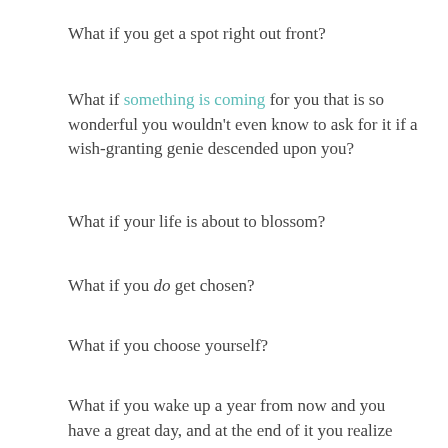What if you get a spot right out front?
What if something is coming for you that is so wonderful you wouldn't even know to ask for it if a wish-granting genie descended upon you?
What if your life is about to blossom?
What if you do get chosen?
What if you choose yourself?
What if you wake up a year from now and you have a great day, and at the end of it you realize with a shock that you haven't even thought about that thing that used to haunt you all day—that breakup, that regret, or